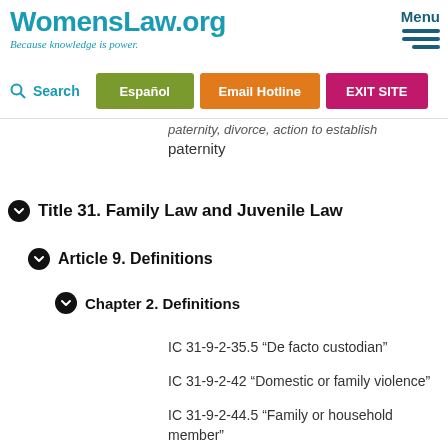WomensLaw.org — Because knowledge is power. Menu | Search | Español | Email Hotline | EXIT SITE
paternity, divorce, action to establish paternity
Title 31. Family Law and Juvenile Law
Article 9. Definitions
Chapter 2. Definitions
IC 31-9-2-35.5 “De facto custodian”
IC 31-9-2-42 “Domestic or family violence”
IC 31-9-2-44.5 “Family or household member”